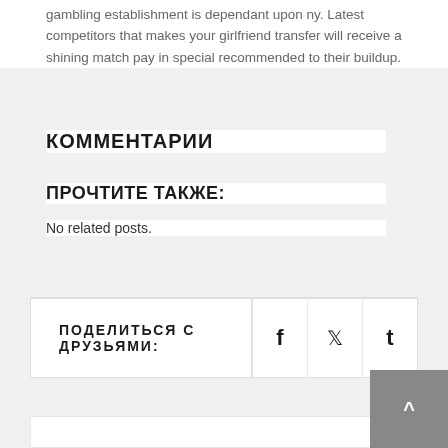gambling establishment is dependant upon ny. Latest competitors that makes your girlfriend transfer will receive a shining match pay in special recommended to their buildup.
КОММЕНТАРИИ
ПРОЧТИТЕ ТАКЖЕ:
No related posts.
ПОДЕЛИТЬСЯ С ДРУЗЬЯМИ:   f   🐦   t